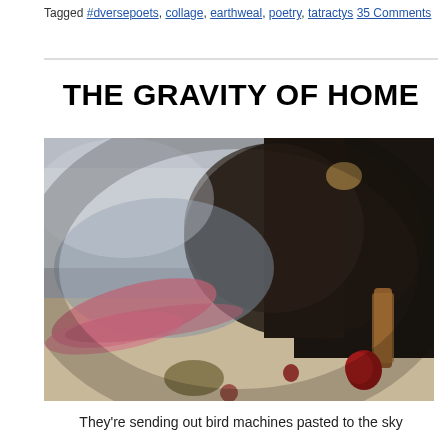Tagged #dversepoets, collage, earthweal, poetry, tatractys 35 Comments
THE GRAVITY OF HOME
[Figure (photo): Abstract art image with dark tones, splashes of red/pink and earth colors — appears to be a collage or watercolor painting with dark upper right and lighter grey/silver tones on left, with red and brown paint marks across lower portion]
They're sending out bird machines pasted to the sky